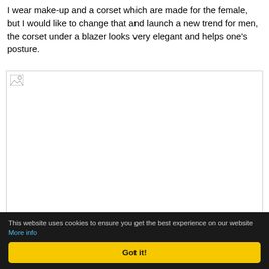I wear make-up and a corset which are made for the female, but I would like to change that and launch a new trend for men, the corset under a blazer looks very elegant and helps one’s posture.
[Figure (photo): A broken/unloaded image placeholder representing a photograph related to the article content about men wearing corsets.]
This website uses cookies to ensure you get the best experience on our website More info Got it!